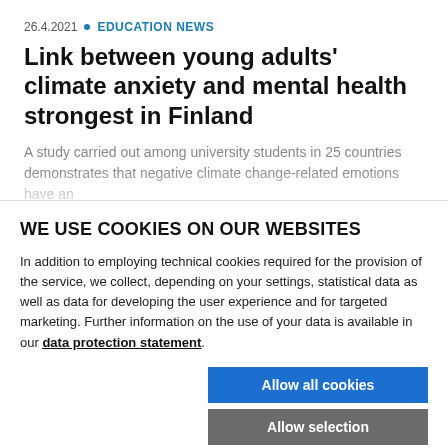26.4.2021 · EDUCATION NEWS
Link between young adults' climate anxiety and mental health strongest in Finland
A study carried out among university students in 25 countries demonstrates that negative climate change-related emotions have an
WE USE COOKIES ON OUR WEBSITES
In addition to employing technical cookies required for the provision of the service, we collect, depending on your settings, statistical data as well as data for developing the user experience and for targeted marketing. Further information on the use of your data is available in our data protection statement.
Allow all cookies
Allow selection
Use necessary cookies only
Necessary technical cookies  Functional cookies  Statistics cookies  Marketing cookies  Show details